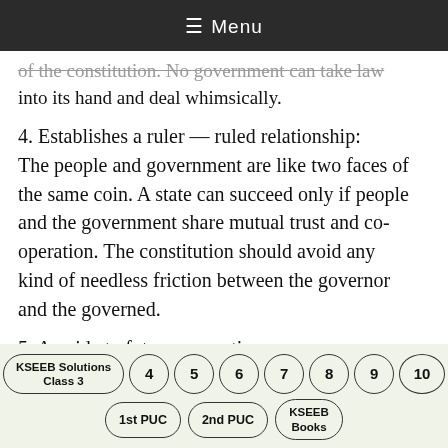≡ Menu
of the constitution. No government can take law into its hand and deal whimsically.
4. Establishes a ruler — ruled relationship: The people and government are like two faces of the same coin. A state can succeed only if people and the government share mutual trust and co-operation. The constitution should avoid any kind of needless friction between the governor and the governed.
5. A guide to future generations: A constitution is often referred to as the mirror of
KSEEB Solutions Class 3 | 4 | 5 | 6 | 7 | 8 | 9 | 10 | 1st PUC | 2nd PUC | KSEEB Books